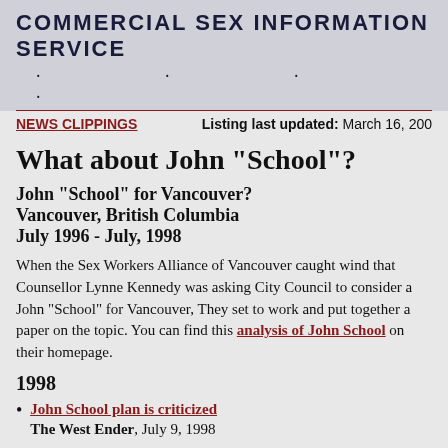COMMERCIAL SEX INFORMATION SERVICE
NEWS CLIPPINGS   Listing last updated: March 16, 200…
What about John "School"?
John "School" for Vancouver?
Vancouver, British Columbia
July 1996 - July, 1998
When the Sex Workers Alliance of Vancouver caught wind that Counsellor Lynne Kennedy was asking City Council to consider a John "School" for Vancouver, They set to work and put together a paper on the topic. You can find this analysis of John School on their homepage.
1998
John School plan is criticized
The West Ender, July 9, 1998
Sex-buying johns sent to classroom
The West Ender, July 3, 1998